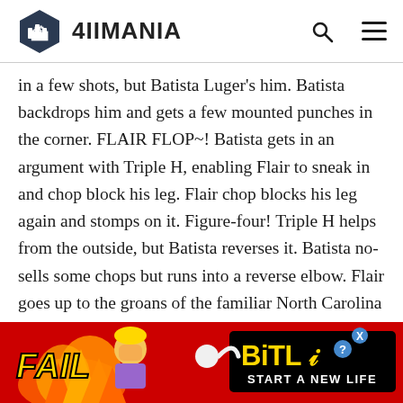4IIMANIA
in a few shots, but Batista Luger's him. Batista backdrops him and gets a few mounted punches in the corner. FLAIR FLOP~! Batista gets in an argument with Triple H, enabling Flair to sneak in and chop block his leg. Flair chop blocks his leg again and stomps on it. Figure-four! Triple H helps from the outside, but Batista reverses it. Batista no-sells some chops but runs into a reverse elbow. Flair goes up to the groans of the familiar North Carolina crowd. Batista powerslams him and delivers a
[Figure (screenshot): BitLife advertisement banner with 'FAIL' text and 'START A NEW LIFE' tagline on a red/orange background]
dispatches him and finishes Flair with the